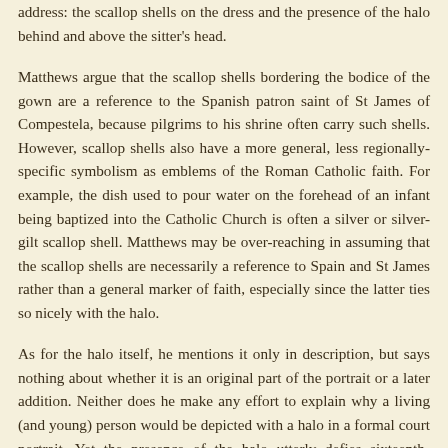address: the scallop shells on the dress and the presence of the halo behind and above the sitter's head.
Matthews argue that the scallop shells bordering the bodice of the gown are a reference to the Spanish patron saint of St James of Compestela, because pilgrims to his shrine often carry such shells. However, scallop shells also have a more general, less regionally-specific symbolism as emblems of the Roman Catholic faith. For example, the dish used to pour water on the forehead of an infant being baptized into the Catholic Church is often a silver or silver-gilt scallop shell. Matthews may be over-reaching in assuming that the scallop shells are necessarily a reference to Spain and St James rather than a general marker of faith, especially since the latter ties so nicely with the halo.
As for the halo itself, he mentions it only in description, but says nothing about whether it is an original part of the portrait or a later addition. Neither does he make any effort to explain why a living (and young) person would be depicted with a halo in a formal court portrait. Yet the presence of the halo utterly defies sixteenth-century artistic